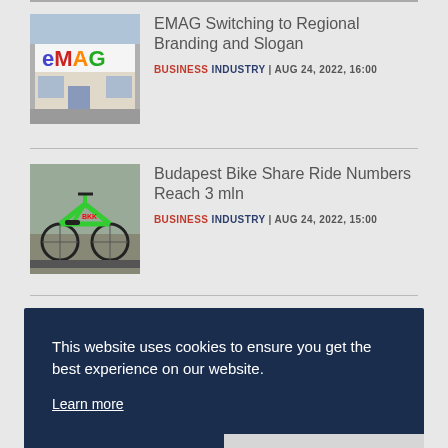[Figure (photo): EMAG store front with colorful logo sign]
EMAG Switching to Regional Branding and Slogan
BUSINESS INDUSTRY | AUG 24, 2022, 16:00
[Figure (photo): Green bicycle from Budapest bike share program]
Budapest Bike Share Ride Numbers Reach 3 mln
BUSINESS INDUSTRY | AUG 24, 2022, 15:00
This website uses cookies to ensure you get the best experience on our website.
Learn more
Decline
Allow cookies